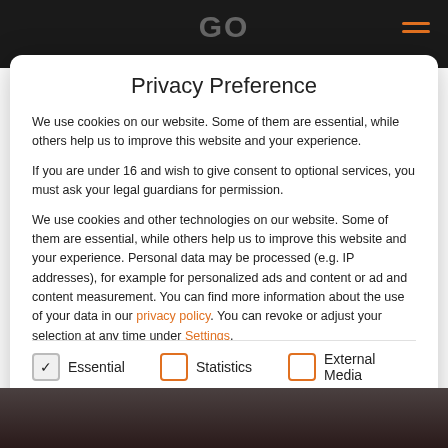Privacy Preference
We use cookies on our website. Some of them are essential, while others help us to improve this website and your experience.
If you are under 16 and wish to give consent to optional services, you must ask your legal guardians for permission.
We use cookies and other technologies on our website. Some of them are essential, while others help us to improve this website and your experience. Personal data may be processed (e.g. IP addresses), for example for personalized ads and content or ad and content measurement. You can find more information about the use of your data in our privacy policy. You can revoke or adjust your selection at any time under Settings.
Essential (checked)
Statistics (unchecked)
External Media (unchecked)
Accept all